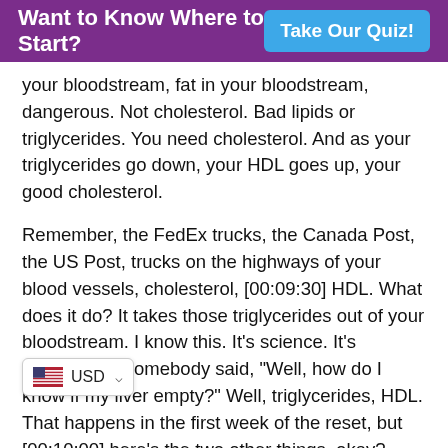Want to Know Where to Start? Take Our Quiz!
your bloodstream, fat in your bloodstream, dangerous. Not cholesterol. Bad lipids or triglycerides. You need cholesterol. And as your triglycerides go down, your HDL goes up, your good cholesterol.
Remember, the FedEx trucks, the Canada Post, the US Post, trucks on the highways of your blood vessels, cholesterol, [00:09:30] HDL. What does it do? It takes those triglycerides out of your bloodstream. I know this. It's science. It's important. If somebody said, "Well, how do I know if my liver empty?" Well, triglycerides, HDL. That happens in the first week of the reset, but [00:10:00] here's the two other things, okay? Triglycerides, HDL, blood pressure. That's metabolic syndrome. You've got high blood pressure? That's metabolic syndrome. Metabolic syndrome is food. It's not drugs.
ease don't come after me and say, "Oh, Dr. Martin doesn't want me to do my blood pressure